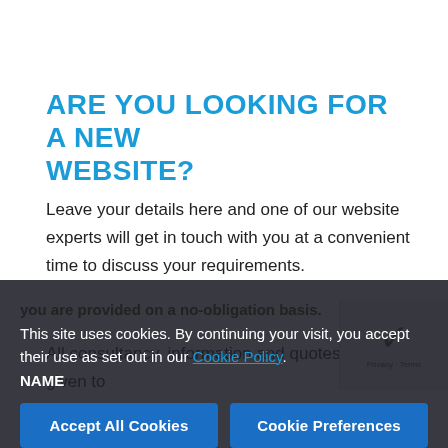ARE YOU LOOKING FOR A NEW WEBSITE?
Leave your details here and one of our website experts will get in touch with you at a convenient time to discuss your requirements.
All consultancy, information and quotes that are given to you are provided on a no-obligation basis.
NAME
This site uses cookies. By continuing your visit, you accept their use as set out in our Cookie Policy.
Accept All Cookies
Cookie Preferences